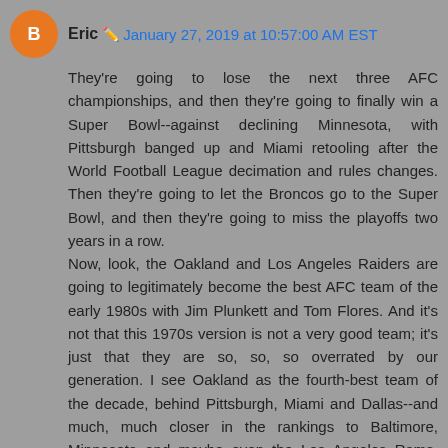Eric · January 27, 2019 at 10:57:00 AM EST
They're going to lose the next three AFC championships, and then they're going to finally win a Super Bowl--against declining Minnesota, with Pittsburgh banged up and Miami retooling after the World Football League decimation and rules changes. Then they're going to let the Broncos go to the Super Bowl, and then they're going to miss the playoffs two years in a row.
Now, look, the Oakland and Los Angeles Raiders are going to legitimately become the best AFC team of the early 1980s with Jim Plunkett and Tom Flores. And it's not that this 1970s version is not a very good team; it's just that they are so, so, so overrated by our generation. I see Oakland as the fourth-best team of the decade, behind Pittsburgh, Miami and Dallas--and much, much closer in the rankings to Baltimore, Minnesota and maybe even the Los Angeles Rams, than any of those first three teams.
That's nothing to sneeze at. It just doesn't nearly merit the romance applied to them.